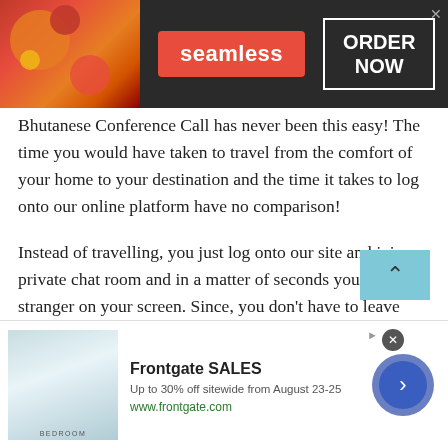[Figure (screenshot): Seamless food delivery advertisement banner with dark background, pizza image on left, red Seamless badge in center, and ORDER NOW button in white border box on right]
Bhutanese Conference Call has never been this easy! The time you would have taken to travel from the comfort of your home to your destination and the time it takes to log onto our online platform have no comparison!
Instead of travelling, you just log onto our site and join a private chat room and in a matter of seconds you see a stranger on your screen. Since, you don't have to leave your house, online Conference Call is undoubtedly much easier and more convenient compared to a face-to-face
[Figure (screenshot): Frontgate SALES advertisement: bedroom image on left, text 'Up to 30% off sitewide from August 23-25' and 'www.frontgate.com', blue circular arrow button on right]